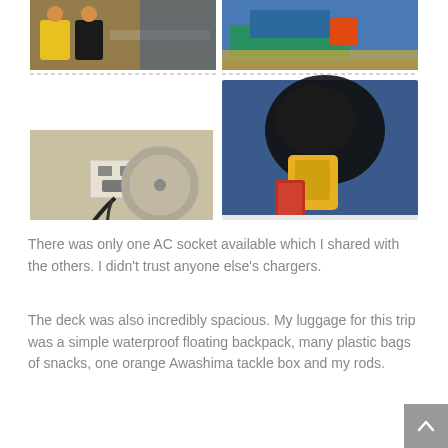[Figure (photo): Grid of four photos: top-left shows two people on a boat, top-right shows a blue table on a boat deck with red container, bottom-left shows an AC socket/power outlet on a wall with cables, bottom-right shows luggage including a yellow backpack and plastic bags held up.]
There was only one AC socket available which I shared with the others. I didn't trust anyone else's chargers.
The deck was also incredibly spacious. My luggage for this trip was a simple waterproof floating backpack, many plastic bags of snacks, one orange Awashima tackle box and my rods.